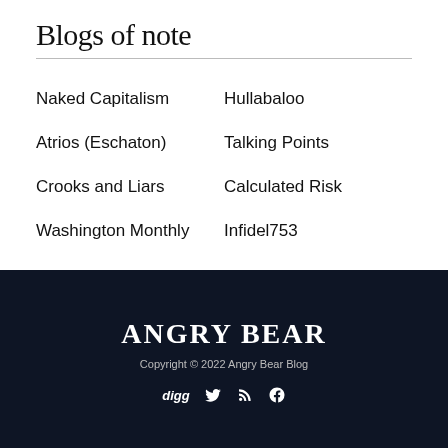Blogs of note
Naked Capitalism
Hullabaloo
Atrios (Eschaton)
Talking Points
Crooks and Liars
Calculated Risk
Washington Monthly
Infidel753
ANGRY BEAR
Copyright © 2022 Angry Bear Blog